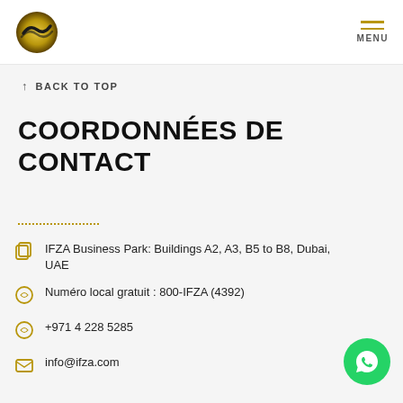[Figure (logo): IFZA gold and dark circular logo with wave design]
MENU
↑ BACK TO TOP
COORDONNÉES DE CONTACT
IFZA Business Park: Buildings A2, A3, B5 to B8, Dubai, UAE
Numéro local gratuit : 800-IFZA (4392)
+971 4 228 5285
info@ifza.com